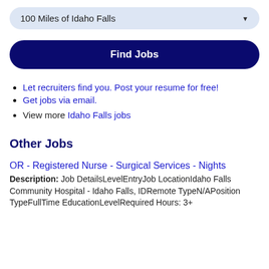100 Miles of Idaho Falls
Find Jobs
Let recruiters find you. Post your resume for free!
Get jobs via email.
View more Idaho Falls jobs
Other Jobs
OR - Registered Nurse - Surgical Services - Nights
Description: Job DetailsLevelEntryJob LocationIdaho Falls Community Hospital - Idaho Falls, IDRemote TypeN/APosition TypeFullTime EducationLevelRequired Hours: 3+